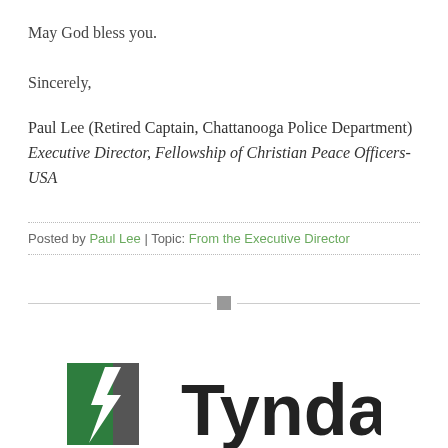May God bless you.
Sincerely,
Paul Lee (Retired Captain, Chattanooga Police Department)
Executive Director, Fellowship of Christian Peace Officers-USA
Posted by Paul Lee | Topic: From the Executive Director
[Figure (logo): Tyndale publisher logo with green and grey flame/book icon and 'Tyndale' text]